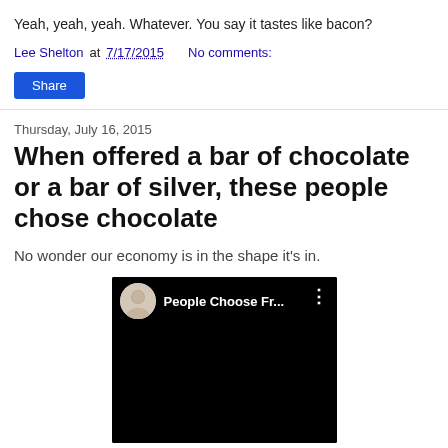Yeah, yeah, yeah. Whatever. You say it tastes like bacon?
Lee Shelton at 7/17/2015   No comments:
Share
Thursday, July 16, 2015
When offered a bar of chocolate or a bar of silver, these people chose chocolate
No wonder our economy is in the shape it's in.
[Figure (screenshot): YouTube video thumbnail showing 'People Choose Fr...' with a male avatar and three-dot menu icon, black background]